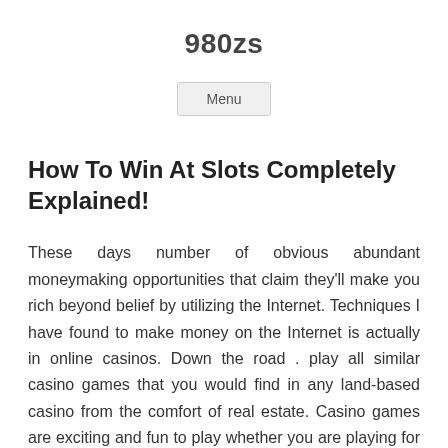980zs
Menu
How To Win At Slots Completely Explained!
These days number of obvious abundant moneymaking opportunities that claim they'll make you rich beyond belief by utilizing the Internet. Techniques I have found to make money on the Internet is actually in online casinos. Down the road . play all similar casino games that you would find in any land-based casino from the comfort of real estate. Casino games are exciting and fun to play whether you are playing for fun or money. Learning the games and developing a game strategy can greatly improve your odds of winning big